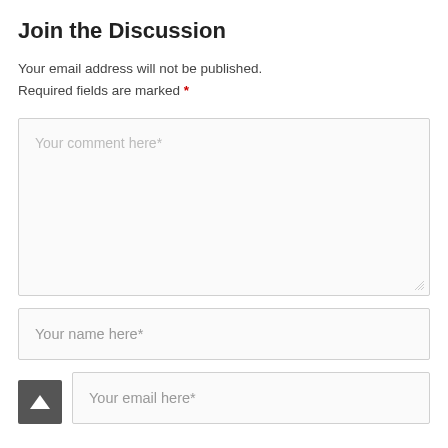Join the Discussion
Your email address will not be published. Required fields are marked *
[Figure (other): Comment text area input box with placeholder text 'Your comment here*']
[Figure (other): Name input field with placeholder 'Your name here*']
[Figure (other): Email input field with placeholder 'Your email here*']
[Figure (other): Back to top button, dark grey square with white upward arrow]